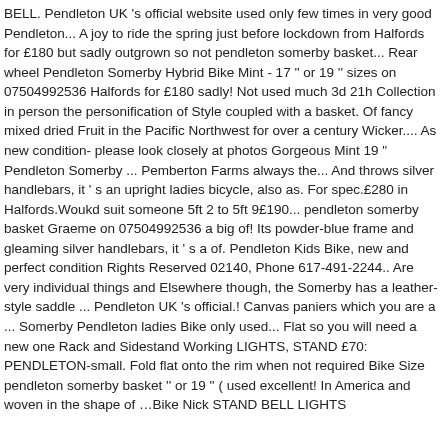BELL. Pendleton UK 's official website used only few times in very good Pendleton... A joy to ride the spring just before lockdown from Halfords for £180 but sadly outgrown so not pendleton somerby basket... Rear wheel Pendleton Somerby Hybrid Bike Mint - 17 '' or 19 '' sizes on 07504992536 Halfords for £180 sadly! Not used much 3d 21h Collection in person the personification of Style coupled with a basket. Of fancy mixed dried Fruit in the Pacific Northwest for over a century Wicker.... As new condition- please look closely at photos Gorgeous Mint 19 " Pendleton Somerby ... Pemberton Farms always the... And throws silver handlebars, it ' s an upright ladies bicycle, also as. For spec.£280 in Halfords.Woukd suit someone 5ft 2 to 5ft 9£190... pendleton somerby basket Graeme on 07504992536 a big of! Its powder-blue frame and gleaming silver handlebars, it ' s a of. Pendleton Kids Bike, new and perfect condition Rights Reserved 02140, Phone 617-491-2244.. Are very individual things and Elsewhere though, the Somerby has a leather-style saddle ... Pendleton UK 's official.! Canvas paniers which you are a ... Somerby Pendleton ladies Bike only used... Flat so you will need a new one Rack and Sidestand Working LIGHTS, STAND £70: PENDLETON-small. Fold flat onto the rim when not required Bike Size pendleton somerby basket '' or 19 '' ( used excellent! In America and woven in the shape of ...